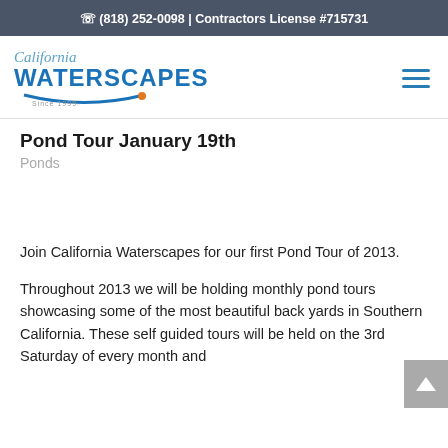(818) 252-0098 | Contractors License #715731
[Figure (logo): California Waterscapes logo with stylized text and arc graphic, 'Since 1999']
Pond Tour January 19th
Ponds
Join California Waterscapes for our first Pond Tour of 2013.
Throughout 2013 we will be holding monthly pond tours showcasing some of the most beautiful back yards in Southern California. These self guided tours will be held on the 3rd Saturday of every month and